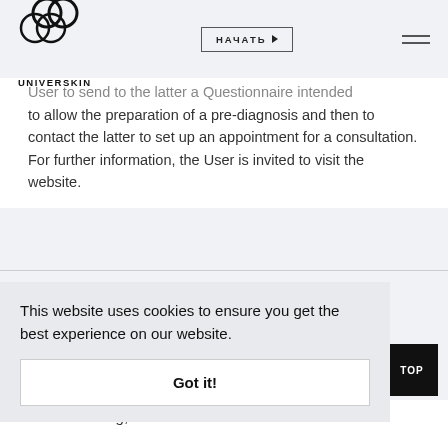UNIVERSKIN — НАЧАТЬ
User to send to the latter a Questionnaire intended to allow the preparation of a pre-diagnosis and then to contact the latter to set up an appointment for a consultation.
For further information, the User is invited to visit the website.
This website uses cookies to ensure you get the best experience on our website.
Got it!
ome
TOP
After choosing, and in order to access the Platform